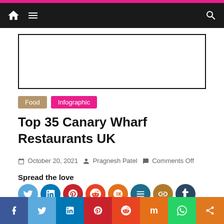Navigation bar with home, menu, search icons
[Figure (other): Advertisement placeholder box (empty white box with black border)]
Food   Infographic
Top 35 Canary Wharf Restaurants UK
October 20, 2021   Pragnesh Patel   Comments Off
Spread the love
[Figure (infographic): Row of social media share icons: Twitter, LinkedIn, Pinterest, Reddit, Mix, Meneame, Copy Link, Tumblr, Instagram, Share]
Spread the love   London is one of the most popular travel and work destinations in the world as it offers fantastic
Facebook, Twitter, LinkedIn, Pinterest, Reddit, Mix, WhatsApp, Share social share buttons